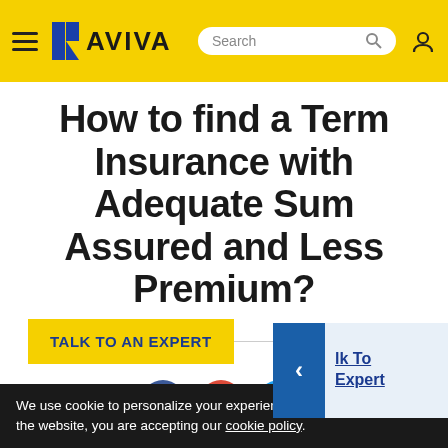AVIVA
How to find a Term Insurance with Adequate Sum Assured and Less Premium?
TALK TO AN EXPERT
SHARE WITH
BLOG CONTEST
We use cookie to personalize your experience. By continuing to use the website, you are accepting our cookie policy.